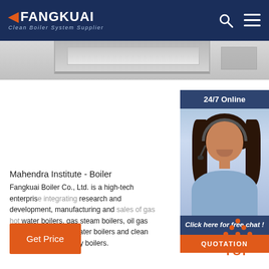FANGKUAI - Clean Boiler System Supplier
[Figure (photo): Top header image strip showing ceiling/interior view]
[Figure (infographic): 24/7 Online chat widget with woman in headset, Click here for free chat!, QUOTATION button]
Mahendra Institute - Boiler
Fangkuai Boiler Co., Ltd. is a high-tech enterprise integrating research and development, manufacturing and sales of gas hot water boilers, gas steam boilers, oil gas boilers, vacuum hot water boilers and clean combustion technology boilers.
[Figure (infographic): Get Price orange button]
[Figure (infographic): TOP scroll-to-top button with orange dots and TOP label]